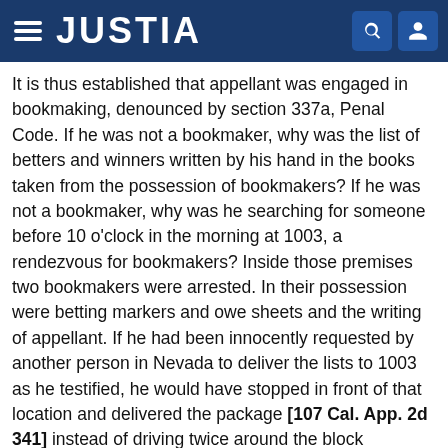JUSTIA
It is thus established that appellant was engaged in bookmaking, denounced by section 337a, Penal Code. If he was not a bookmaker, why was the list of betters and winners written by his hand in the books taken from the possession of bookmakers? If he was not a bookmaker, why was he searching for someone before 10 o'clock in the morning at 1003, a rendezvous for bookmakers? Inside those premises two bookmakers were arrested. In their possession were betting markers and owe sheets and the writing of appellant. If he had been innocently requested by another person in Nevada to deliver the lists to 1003 as he testified, he would have stopped in front of that location and delivered the package [107 Cal. App. 2d 341] instead of driving twice around the block watching eagerly for a friend to emerge from the building.